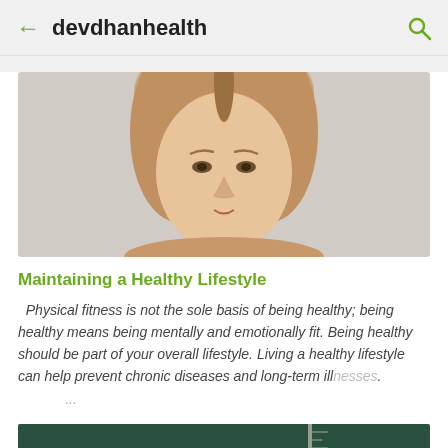← devdhanhealth 🔍
[Figure (photo): Photo of a young woman with blonde hair against a light grey background, cropped at forehead level showing face and upper body.]
Maintaining a Healthy Lifestyle
Physical fitness is not the sole basis of being healthy; being healthy means being mentally and emotionally fit. Being healthy should be part of your overall lifestyle. Living a healthy lifestyle can help prevent chronic diseases and long-term illnesses. ...
[Figure (photo): Photo showing a person holding a ruler/measuring tape against a dark green chalkboard background.]